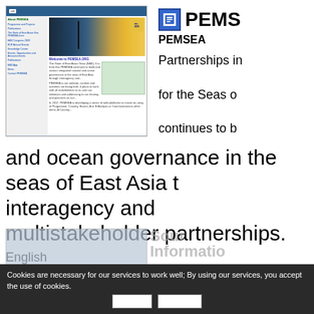[Figure (screenshot): Screenshot of PEMSEA website showing navigation sidebar, hero image with a person silhouetted against water and sky, EAS badge, and website content including a green document box]
[Figure (screenshot): PEMSEA icon - blue square icon with white inner square, resembling a document or info icon]
PEMSEA
PEMSEA
Partnerships in Environmental Management for the Seas of East Asia (PEMSEA) continues to build and sustain integrated coastal and ocean governance in the seas of East Asia through interagency and multistakeholder partnerships.
and ocean governance in the seas of East Asia through interagency and multistakeholder partnerships.
English
Cookies are necessary for our services to work well; By using our services, you accept the use of cookies.
Refuse
Accept